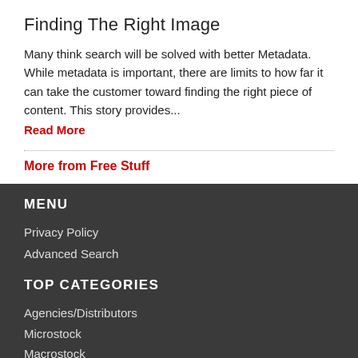Finding The Right Image
Many think search will be solved with better Metadata. While metadata is important, there are limits to how far it can take the customer toward finding the right piece of content. This story provides...
Read More
More from Free Stuff
MENU
Privacy Policy
Advanced Search
TOP CATEGORIES
Agencies/Distributors
Microstock
Macrostock
Subscription
Video/Motion